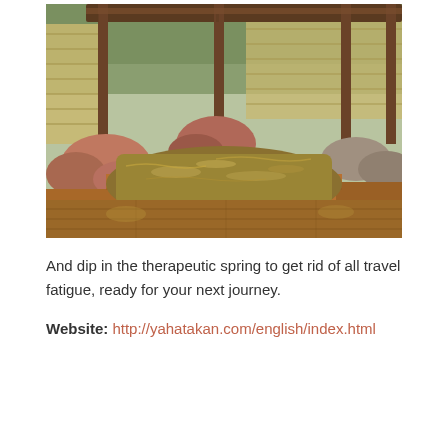[Figure (photo): Outdoor Japanese hot spring bath (onsen) with wooden deck, reddish-brown mineral water, large decorative rocks, timber roof structure, bamboo fence, and trees in the background]
And dip in the therapeutic spring to get rid of all travel fatigue, ready for your next journey.
Website: http://yahatakan.com/english/index.html